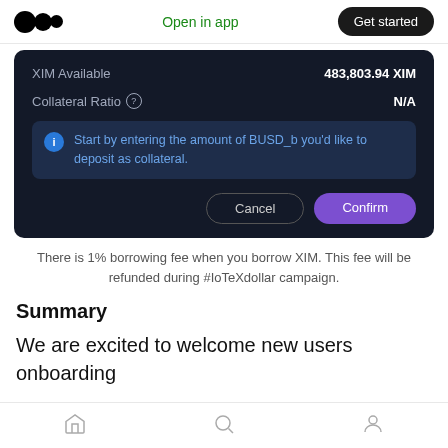Open in app | Get started
[Figure (screenshot): Dark-themed UI panel showing XIM Available: 483,803.94 XIM, Collateral Ratio: N/A, info box saying 'Start by entering the amount of BUSD_b you'd like to deposit as collateral.', with Cancel and Confirm buttons.]
There is 1% borrowing fee when you borrow XIM. This fee will be refunded during #IoTeXdollar campaign.
Summary
We are excited to welcome new users onboarding
Home | Search | Profile